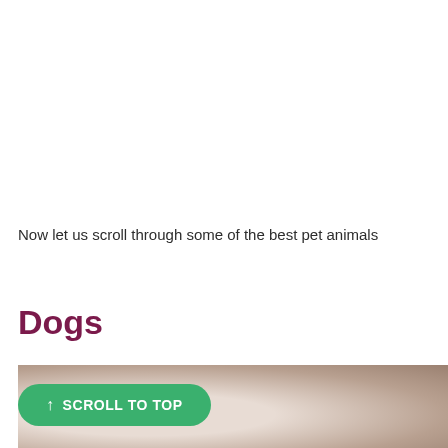Now let us scroll through some of the best pet animals
Dogs
[Figure (photo): Photo of dogs, showing beige/tan blurred background with dog figures visible at the bottom]
↑ SCROLL TO TOP